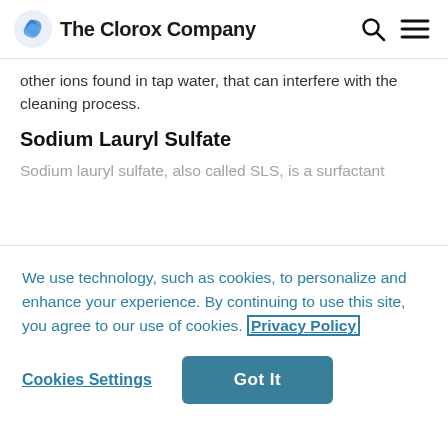The Clorox Company
other ions found in tap water, that can interfere with the cleaning process.
Sodium Lauryl Sulfate
Sodium lauryl sulfate, also called SLS, is a surfactant
We use technology, such as cookies, to personalize and enhance your experience. By continuing to use this site, you agree to our use of cookies. Privacy Policy
Cookies Settings  Got It